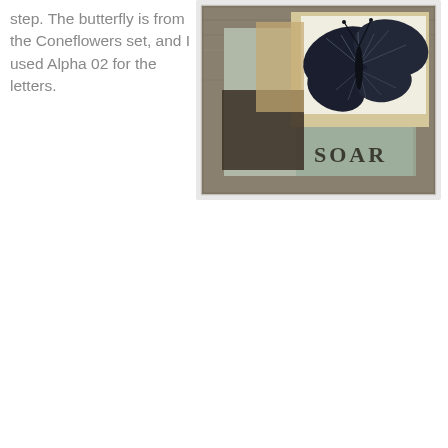step. The butterfly is from the Coneflowers set, and I used Alpha 02 for the letters.
[Figure (photo): A framed craft/mixed media artwork featuring a large butterfly stamp in dark blue/black glitter on layers of patterned and textured papers in tan, brown, and blue-gray tones. The word 'SOAR' is stamped in dark letters in the lower right portion of the artwork. The piece is displayed on a light surface.]